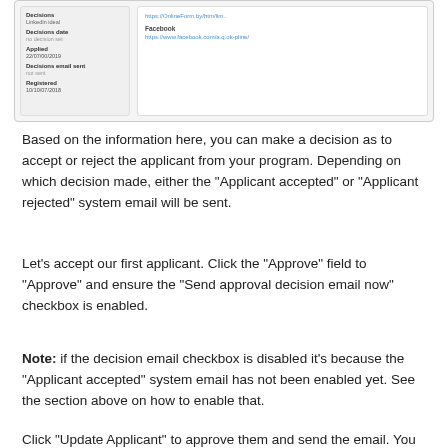[Figure (screenshot): Screenshot of an applicant detail panel showing fields: Decisions, LinkedIn ideal, Decisions date, Applied (22/07/00/2019), Decisions email sent, Registered. Right panel shows URL links including a Facebook link.]
Based on the information here, you can make a decision as to accept or reject the applicant from your program. Depending on which decision made, either the "Applicant accepted" or "Applicant rejected" system email will be sent.
Let's accept our first applicant. Click the "Approve" field to "Approve" and ensure the "Send approval decision email now" checkbox is enabled.
Note: if the decision email checkbox is disabled it's because the "Applicant accepted" system email has not been enabled yet. See the section above on how to enable that.
Click "Update Applicant" to approve them and send the email. You will receive an email from the system which will include the activation URL.